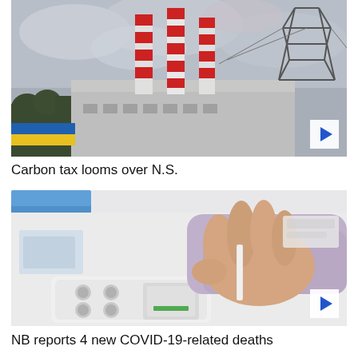[Figure (photo): Industrial power plant with red and white striped smokestacks and an electrical transmission tower against a cloudy sky, with trees in the foreground.]
Carbon tax looms over N.S.
[Figure (photo): Close-up of a hand inserting a test strip into a COVID-19 rapid antigen test device on a white surface.]
NB reports 4 new COVID-19-related deaths